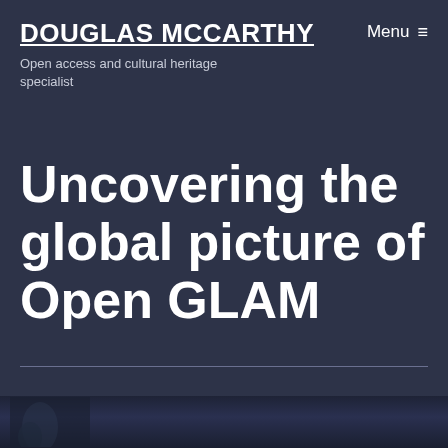DOUGLAS MCCARTHY
Open access and cultural heritage specialist
Menu ≡
Uncovering the global picture of Open GLAM
[Figure (photo): Partial dark photograph visible at the bottom of the page, showing a dimly lit scene]